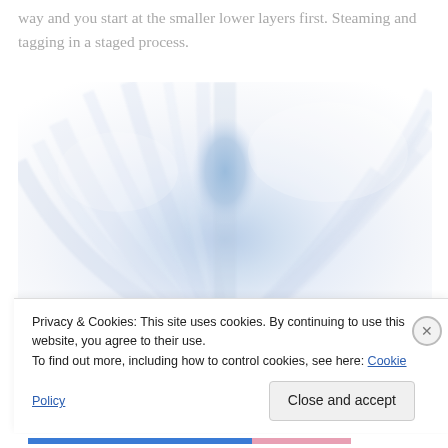way and you start at the smaller lower layers first. Steaming and tagging in a staged process.
[Figure (photo): Close-up photo of white and light blue layered tulle fabric radiating outward, with a glimpse of a teal-gloved hand at the lower right.]
Privacy & Cookies: This site uses cookies. By continuing to use this website, you agree to their use.
To find out more, including how to control cookies, see here: Cookie Policy